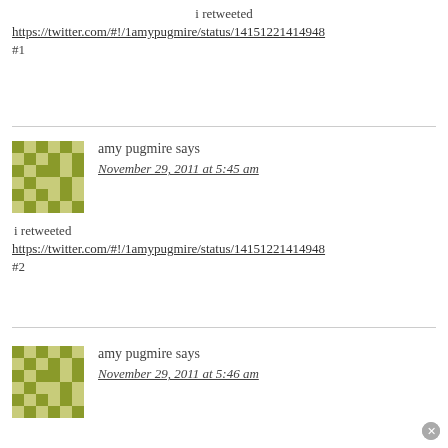i retweeted
https://twitter.com/#!/1amypugmire/status/14151221414948
#1
amy pugmire says
November 29, 2011 at 5:45 am
i retweeted
https://twitter.com/#!/1amypugmire/status/14151221414948
#2
amy pugmire says
November 29, 2011 at 5:46 am